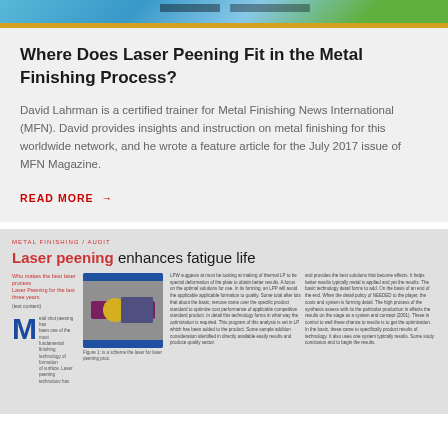[Figure (photo): Top banner image showing laser peening process with blue fluid/color gradient and gold/yellow bar at bottom]
Where Does Laser Peening Fit in the Metal Finishing Process?
David Lahrman is a certified trainer for Metal Finishing News International (MFN). David provides insights and instruction on metal finishing for this worldwide network, and he wrote a feature article for the July 2017 issue of MFN Magazine.
READ MORE →
[Figure (screenshot): Screenshot of MFN Magazine article titled 'Laser peening enhances fatigue life' showing article layout with blue M letter drop cap, diagram of laser peening process, and multiple columns of text]